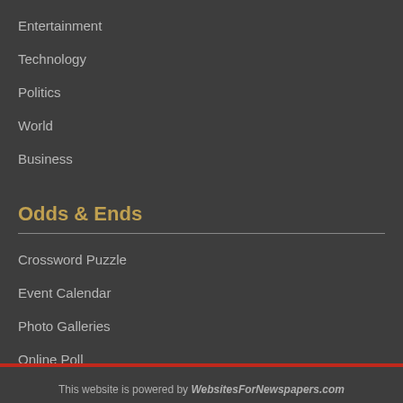Entertainment
Technology
Politics
World
Business
Odds & Ends
Crossword Puzzle
Event Calendar
Photo Galleries
Online Poll
This website is powered by WebsitesForNewspapers.com